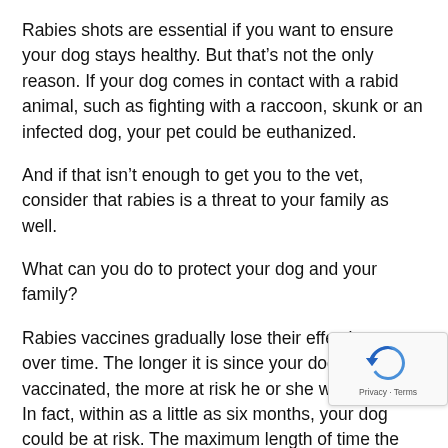Rabies shots are essential if you want to ensure your dog stays healthy. But that's not the only reason. If your dog comes in contact with a rabid animal, such as fighting with a raccoon, skunk or an infected dog, your pet could be euthanized.
And if that isn't enough to get you to the vet, consider that rabies is a threat to your family as well.
What can you do to protect your dog and your family?
Rabies vaccines gradually lose their effectiveness over time. The longer it is since your dog was vaccinated, the more at risk he or she will become. In fact, within as a little as six months, your dog could be at risk. The maximum length of time the vaccine lasts is about two years, but by that time it's effectiveness has deteriorated significantly.
Many people use this two-year point as the period